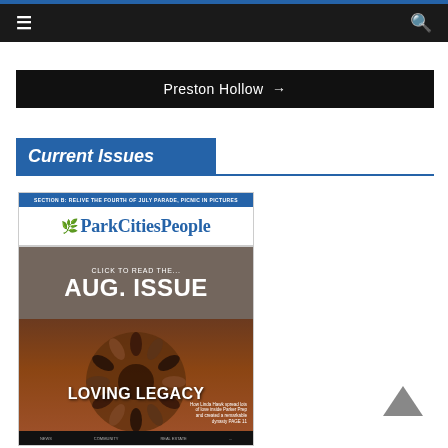☰  [hamburger menu]  🔍 [search icon]
Preston Hollow →
Current Issues
[Figure (photo): Cover of Park Cities People magazine August issue. Header band reads 'SECTION B: RELIVE THE FOURTH OF JULY PARADE, PICNIC IN PICTURES'. Logo shows ParkCitiesPeople with tree icon. A gray overlay on the cover reads 'CLICK TO READ THE... AUG. ISSUE'. Below is a photo of people arranged in a circle (bird's eye view) on a dark floor. Text reads 'LOVING LEGACY'. Small caption in bottom right mentions 'How Linda Hawk spread lots of love inside Parker Prep and created a remarkable dynasty PAGE 11'.]